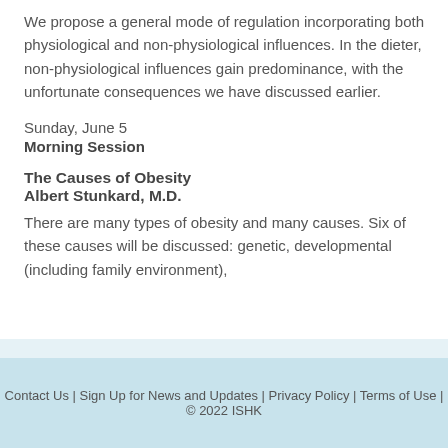We propose a general mode of regulation incorporating both physiological and non-physiological influences. In the dieter, non-physiological influences gain predominance, with the unfortunate consequences we have discussed earlier.
Sunday, June 5
Morning Session
The Causes of Obesity
Albert Stunkard, M.D.
There are many types of obesity and many causes. Six of these causes will be discussed: genetic, developmental (including family environment),
Contact Us | Sign Up for News and Updates | Privacy Policy | Terms of Use | © 2022 ISHK